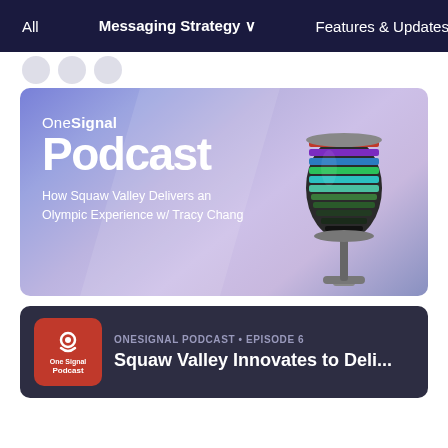All  Messaging Strategy  Features & Updates
[Figure (screenshot): Partially visible logo/navigation icons]
[Figure (illustration): OneSignal Podcast banner with retro microphone illustration. Text reads: One Signal Podcast. How Squaw Valley Delivers an Olympic Experience w/ Tracy Chang]
ONESIGNAL PODCAST • EPISODE 6
Squaw Valley Innovates to Deli...